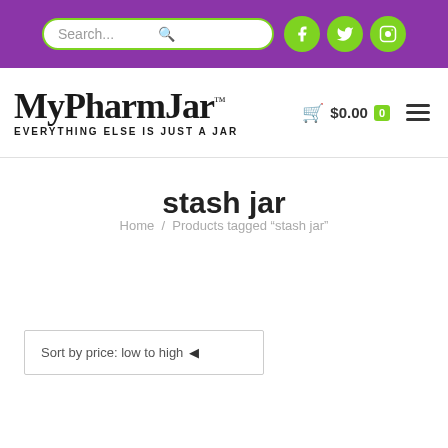Search... [search icon] [Facebook icon] [Twitter icon] [Instagram icon]
[Figure (logo): MyPharmJar logo with tagline EVERYTHING ELSE IS JUST A JAR, cart showing $0.00 with 0 badge, and hamburger menu icon]
stash jar
Home / Products tagged "stash jar"
Sort by price: low to high